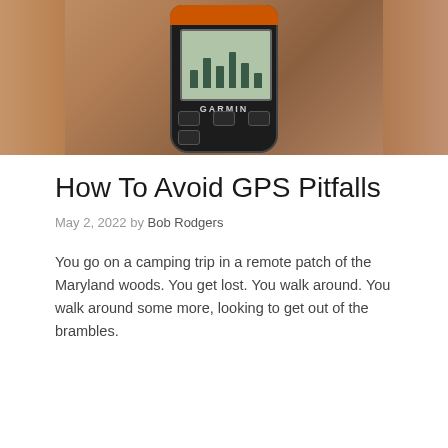[Figure (photo): A hand holding a Garmin GPS device against a brown/tan outdoor background. The Garmin device has an orange band around the top, a dark body, and a small screen displaying bar graph data.]
How To Avoid GPS Pitfalls
May 2, 2022 by Bob Rodgers
You go on a camping trip in a remote patch of the Maryland woods. You get lost. You walk around. You walk around some more, looking to get out of the brambles.